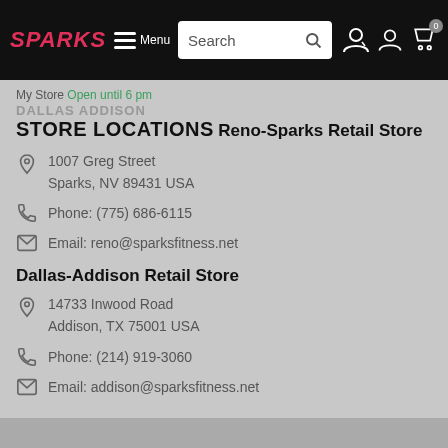SPARKS Menu [Search bar] [Account] [Cart 0]
My Store Open until 6 pm
DALLAS ADDISON
STORE LOCATIONS
Reno-Sparks Retail Store
1007 Greg Street
Sparks, NV 89431 USA
Phone: (775) 686-6115
Email: reno@sparksfitness.net
Dallas-Addison Retail Store
14733 Inwood Road
Addison, TX 75001 USA
Phone: (214) 919-3060
Email: addison@sparksfitness.net